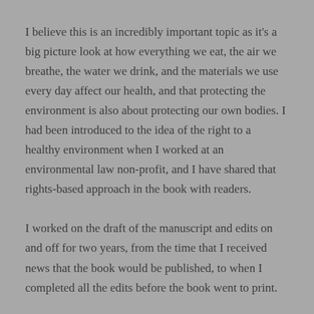I believe this is an incredibly important topic as it's a big picture look at how everything we eat, the air we breathe, the water we drink, and the materials we use every day affect our health, and that protecting the environment is also about protecting our own bodies. I had been introduced to the idea of the right to a healthy environment when I worked at an environmental law non-profit, and I have shared that rights-based approach in the book with readers.
I worked on the draft of the manuscript and edits on and off for two years, from the time that I received news that the book would be published, to when I completed all the edits before the book went to print.
Tell us about your journey to publication! How did you